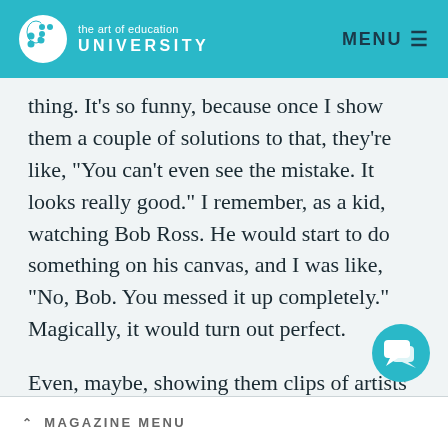the art of education UNIVERSITY
thing. It’s so funny, because once I show them a couple of solutions to that, they’re like, “You can’t even see the mistake. It looks really good.” I remember, as a kid, watching Bob Ross. He would start to do something on his canvas, and I was like, “No, Bob. You messed it up completely.” Magically, it would turn out perfect.
Even, maybe, showing them clips of artists
MAGAZINE MENU